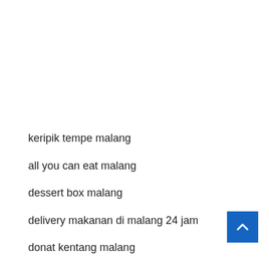keripik tempe malang
all you can eat malang
dessert box malang
delivery makanan di malang 24 jam
donat kentang malang
ayam goreng malang